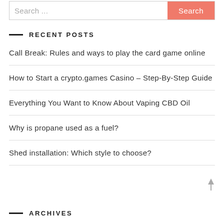Search ...
RECENT POSTS
Call Break: Rules and ways to play the card game online
How to Start a crypto.games Casino – Step-By-Step Guide
Everything You Want to Know About Vaping CBD Oil
Why is propane used as a fuel?
Shed installation: Which style to choose?
ARCHIVES